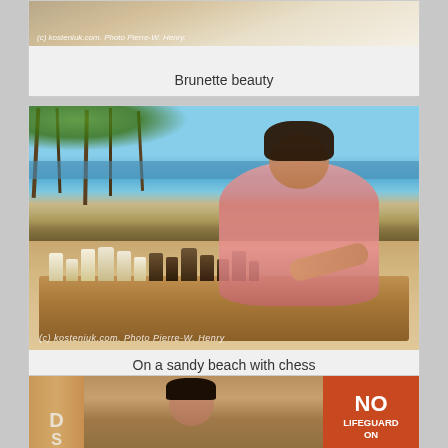[Figure (photo): Partially visible photo of a woman, cropped at top, watermark reads '(c) kosteniuk.com. Photo Pierre-W. Henry.']
Brunette beauty
[Figure (photo): Woman in pink top leaning over a chess board on a sandy beach with palm trees and ocean in background. Watermark reads '(c) kosteniuk.com. Photo Pierre-W. Henry']
On a sandy beach with chess
[Figure (photo): Partially visible bottom photo showing chess board and a 'NO LIFEGUARD ON' sign, woman partially visible]